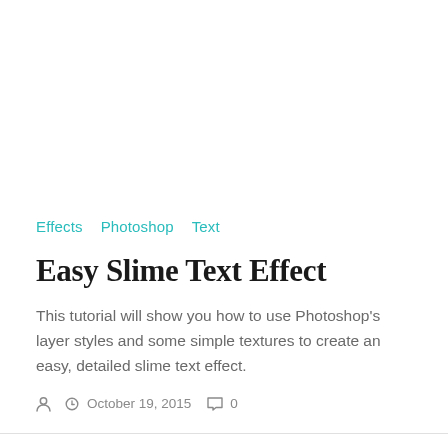Effects  Photoshop  Text
Easy Slime Text Effect
This tutorial will show you how to use Photoshop's layer styles and some simple textures to create an easy, detailed slime text effect.
October 19, 2015  0